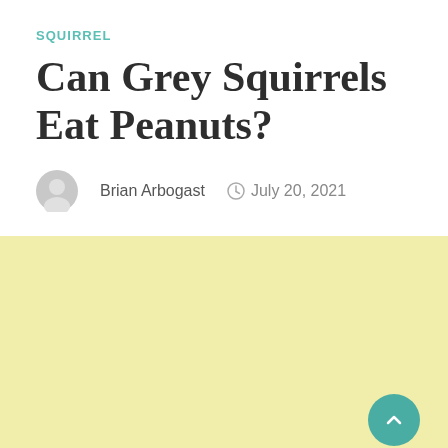SQUIRREL
Can Grey Squirrels Eat Peanuts?
Brian Arbogast  July 20, 2021
[Figure (other): Large yellow/cream colored advertisement or image placeholder block with a circular teal scroll-to-top button in the bottom right corner]